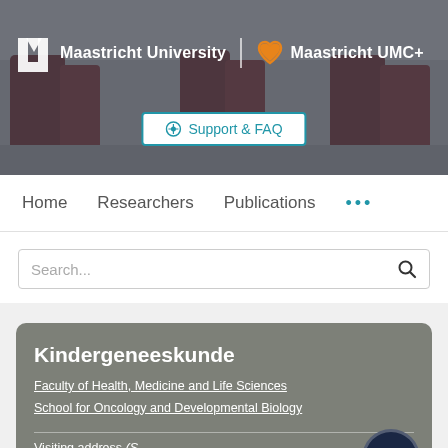[Figure (photo): Header banner with photo of people in academic robes walking in a street, overlaid with Maastricht University and Maastricht UMC+ logos on a dark-tinted background]
Maastricht University | Maastricht UMC+
Support & FAQ
Home   Researchers   Publications   ...
Search...
Kindergeneeskunde
Faculty of Health, Medicine and Life Sciences
School for Oncology and Developmental Biology
Visiting address (S...